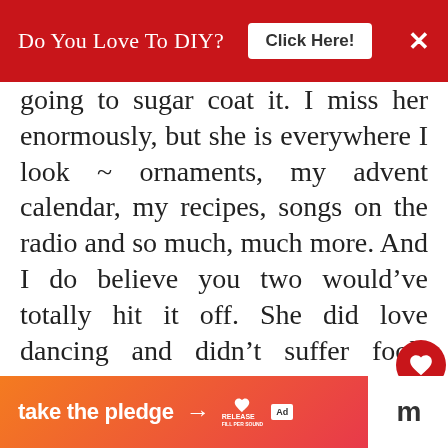Do You Love To DIY? Click Here!
going to sugar coat it. I miss her enormously, but she is everywhere I look ~ ornaments, my advent calendar, my recipes, songs on the radio and so much, much more. And I do believe you two would've totally hit it off. She did love dancing and didn't suffer fools lightly. Your sense of humor, adventure, your love of travel and your very loving
take the pledge →